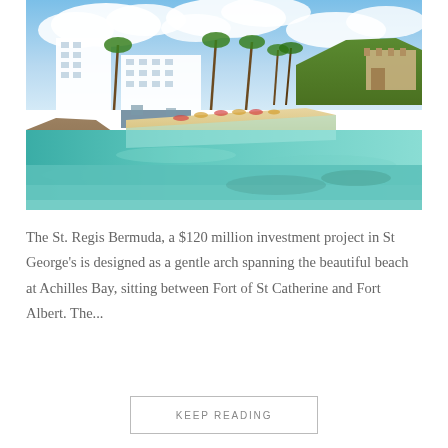[Figure (photo): Aerial/waterfront view of St. Regis Bermuda resort hotel with white buildings, palm trees, sandy beach at Achilles Bay, turquoise clear water, rocky foreground, stone fort on right hilltop, blue sky with white clouds.]
The St. Regis Bermuda, a $120 million investment project in St George's is designed as a gentle arch spanning the beautiful beach at Achilles Bay, sitting between Fort of St Catherine and Fort Albert. The...
KEEP READING